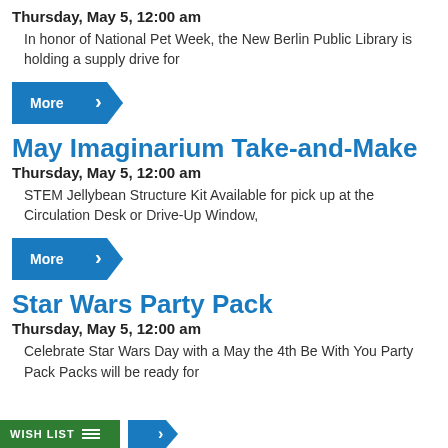Thursday, May 5, 12:00 am
In honor of National Pet Week, the New Berlin Public Library is holding a supply drive for
[Figure (other): Blue 'More' button with right-arrow chevron]
May Imaginarium Take-and-Make
Thursday, May 5, 12:00 am
STEM Jellybean Structure Kit Available for pick up at the Circulation Desk or Drive-Up Window,
[Figure (other): Blue 'More' button with right-arrow chevron]
Star Wars Party Pack
Thursday, May 5, 12:00 am
Celebrate Star Wars Day with a May the 4th Be With You Party Pack Packs will be ready for
[Figure (other): Wish List bar and More button partially visible at bottom]